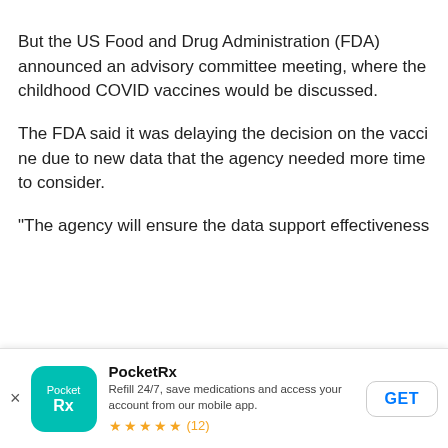But the US Food and Drug Administration (FDA) announced an advisory committee meeting, where the childhood COVID vaccines would be discussed.
The FDA said it was delaying the decision on the vaccine due to new data that the agency needed more time to consider.
"The agency will ensure the data support effectiveness
[Figure (other): PocketRx app advertisement banner. Shows teal rounded-square app icon with PocketRx logo, app name 'PocketRx', description 'Refill 24/7, save medications and access your account from our mobile app.', 5-star rating with (12) reviews, and a GET button. Has an X close button on left.]